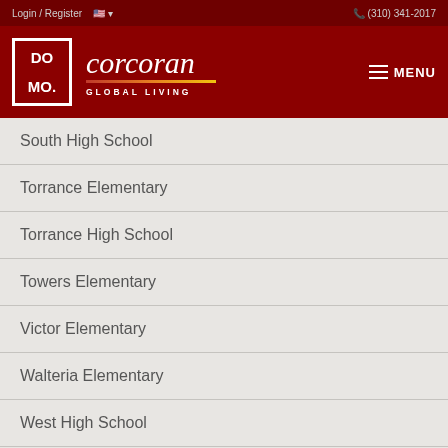Login / Register    (310) 341-2017
[Figure (logo): DOMO MO logo in white square border, Corcoran Global Living wordmark in italic script with gradient underline, MENU hamburger button]
South High School
Torrance Elementary
Torrance High School
Towers Elementary
Victor Elementary
Walteria Elementary
West High School
...on Elementary